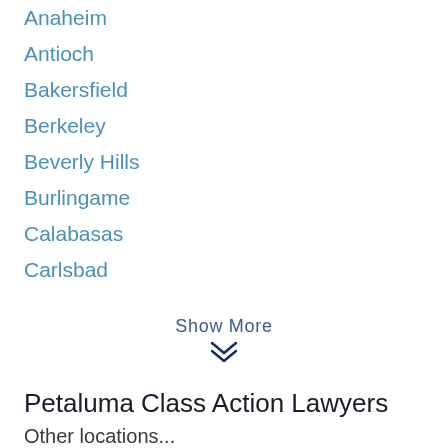Anaheim
Antioch
Bakersfield
Berkeley
Beverly Hills
Burlingame
Calabasas
Carlsbad
Show More
Petaluma Class Action Lawyers
Other locations...